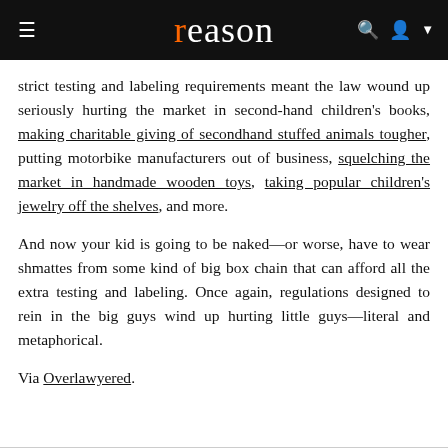reason
strict testing and labeling requirements meant the law wound up seriously hurting the market in second-hand children's books, making charitable giving of secondhand stuffed animals tougher, putting motorbike manufacturers out of business, squelching the market in handmade wooden toys, taking popular children's jewelry off the shelves, and more.
And now your kid is going to be naked—or worse, have to wear shmattes from some kind of big box chain that can afford all the extra testing and labeling. Once again, regulations designed to rein in the big guys wind up hurting little guys—literal and metaphorical.
Via Overlawyered.